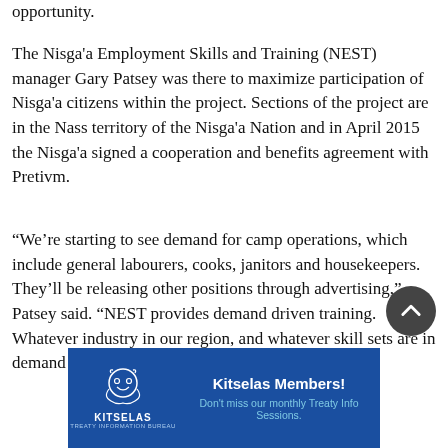opportunity.
The Nisga'a Employment Skills and Training (NEST) manager Gary Patsey was there to maximize participation of Nisga'a citizens within the project. Sections of the project are in the Nass territory of the Nisga'a Nation and in April 2015 the Nisga'a signed a cooperation and benefits agreement with Pretivm.
“We’re starting to see demand for camp operations, which include general labourers, cooks, janitors and housekeepers. They’ll be releasing other positions through advertising,” Patsey said. “NEST provides demand driven training. Whatever industry in our region, and whatever skill sets are in demand as presented by the industry, we work to
[Figure (logo): Kitselas Treaty Information Bureau advertisement banner with logo and text: Kitselas Members! Don't miss our monthly Treaty Info Sessions.]